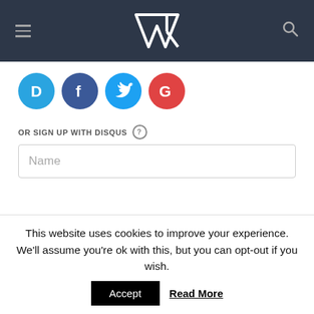VR site header with hamburger menu, logo, and search icon
[Figure (logo): Four social login icons: Disqus (D, blue), Facebook (f, dark blue), Twitter (bird, light blue), Google (G, red)]
OR SIGN UP WITH DISQUS ?
Name
Be the first to comment.
Subscribe | Add Disqus | Do Not Sell My Data | DISQUS
This website uses cookies to improve your experience. We'll assume you're ok with this, but you can opt-out if you wish.
Accept  Read More